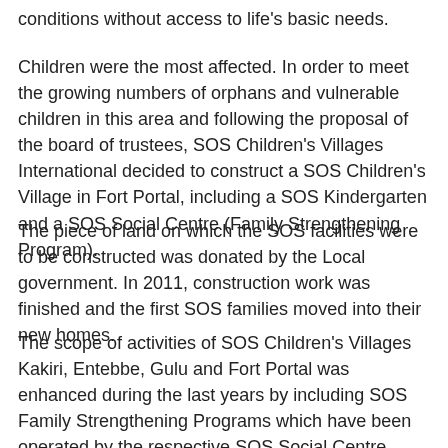conditions without access to life's basic needs.
Children were the most affected. In order to meet the growing numbers of orphans and vulnerable children in this area and following the proposal of the board of trustees, SOS Children's Villages International decided to construct a SOS Children's Village in Fort Portal, including a SOS Kindergarten and a SOS Social Centre (Family Strengthening Program).
The piece of land on which the SOS facilities were to be constructed was donated by the Local government. In 2011, construction work was finished and the first SOS families moved into their new homes.
The scope of activities of SOS Children's Villages Kakiri, Entebbe, Gulu and Fort Portal was enhanced during the last years by including SOS Family Strengthening Programs which have been operated by the respective SOS Social Centre.